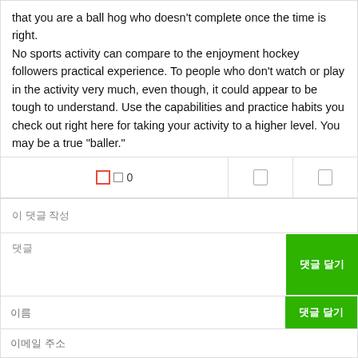that you are a ball hog who doesn't complete once the time is right.

No sports activity can compare to the enjoyment hockey followers practical experience. To people who don't watch or play in the activity very much, even though, it could appear to be tough to understand. Use the capabilities and practice habits you check out right here for taking your activity to a higher level. You may be a true "baller."
[Figure (other): Action bar with like icon, count 0, and two icon buttons]
이 댓글 작성
댓글
이름
이메일 주소
웹사이트
댓글 달기
http://